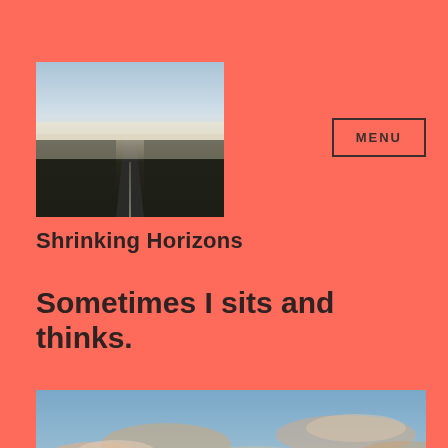[Figure (photo): Road stretching into the horizon with misty hazy sky and flat fields on either side, viewed from car level]
MENU
Shrinking Horizons
Sometimes I sits and thinks.
[Figure (photo): Sky with scattered clouds photographed at dusk or dawn, blue sky with orange and pink tinted clouds]